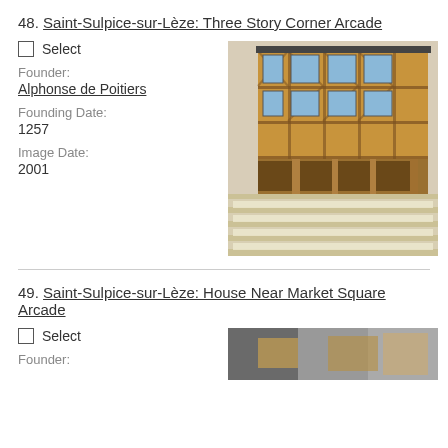48. Saint-Sulpice-sur-Lèze: Three Story Corner Arcade
Select
Founder:
Alphonse de Poitiers
Founding Date:
1257
Image Date:
2001
[Figure (photo): Three-story timber-framed corner arcade building in Saint-Sulpice-sur-Lèze, with arcaded ground floor and exposed timber frame upper stories, zebra crossing in foreground. Image date 2001.]
49. Saint-Sulpice-sur-Lèze: House Near Market Square Arcade
Select
Founder:
[Figure (photo): Partial photo of a building near market square arcade in Saint-Sulpice-sur-Lèze.]